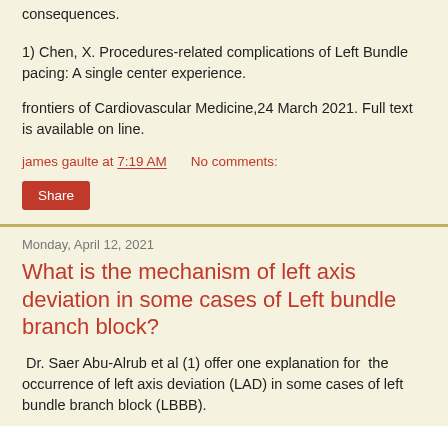consequences.
1) Chen, X. Procedures-related complications of Left Bundle pacing: A single center experience.
frontiers of Cardiovascular Medicine,24 March 2021. Full text is available on line.
james gaulte at 7:19 AM    No comments:
Share
Monday, April 12, 2021
What is the mechanism of left axis deviation in some cases of Left bundle branch block?
Dr. Saer Abu-Alrub et al (1) offer one explanation for the occurrence of left axis deviation (LAD) in some cases of left bundle branch block (LBBB).